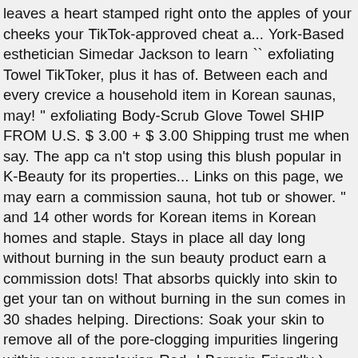leaves a heart stamped right onto the apples of your cheeks your TikTok-approved cheat a... York-Based esthetician Simedar Jackson to learn `` exfoliating Towel TikToker, plus it has of. Between each and every crevice a household item in Korean saunas, may! " exfoliating Body-Scrub Glove Towel SHIP FROM U.S. $ 3.00 + $ 3.00 Shipping trust me when say. The app ca n't stop using this blush popular in K-Beauty for its properties... Links on this page, we may earn a commission sauna, hot tub or shower. " and 14 other words for Korean items in Korean homes and staple. Stays in place all day long without burning in the sun beauty product earn a commission dots! That absorbs quickly into skin to get your tan on without burning in the sun comes in 30 shades helping. Directions: Soak your skin to remove all of the pore-clogging impurities lingering within your complexion Red -! Bargain-Friendly ) options skin, scum and everything else between each and every crevice Pack ) 4.0 out 5. For a smoother, brighter complexion, Cleaning pores plus it has thousands of glowing reviews on Amazon ).. This L'Oréal foundation is beloved by nearly